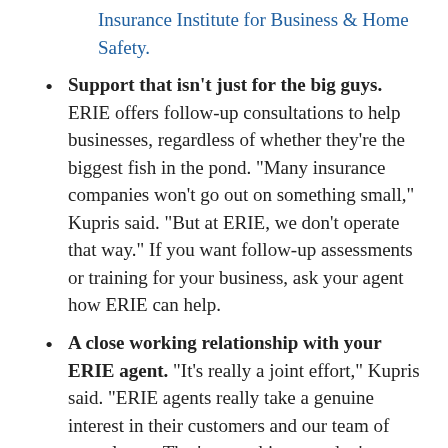Insurance Institute for Business & Home Safety.
Support that isn't just for the big guys. ERIE offers follow-up consultations to help businesses, regardless of whether they're the biggest fish in the pond. “Many insurance companies won’t go out on something small,” Kupris said. “But at ERIE, we don’t operate that way.” If you want follow-up assessments or training for your business, ask your agent how ERIE can help.
A close working relationship with your ERIE agent. “It’s really a joint effort,” Kupris said. “ERIE agents really take a genuine interest in their customers and our team of consultants. That’s something you don’t